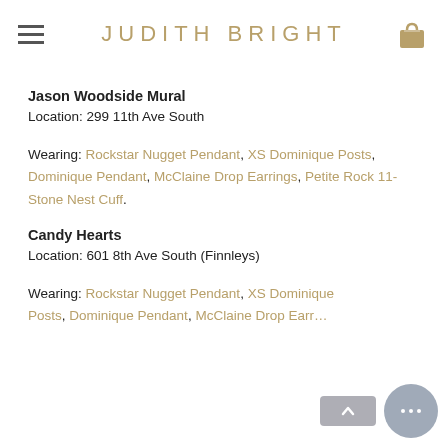JUDITH BRIGHT
Jason Woodside Mural
Location: 299 11th Ave South
Wearing: Rockstar Nugget Pendant, XS Dominique Posts, Dominique Pendant, McClaine Drop Earrings, Petite Rock 11-Stone Nest Cuff.
Candy Hearts
Location: 601 8th Ave South (Finnleys)
Wearing: Rockstar Nugget Pendant, XS Dominique Posts, Dominique Pendant, McClaine Drop Earrings, Petite…